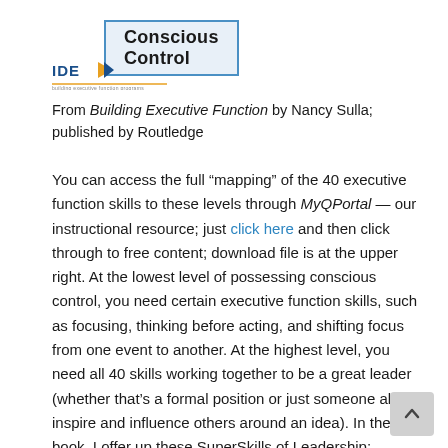Conscious Control
[Figure (logo): IDE logo with triangular arrow graphic and underline]
From Building Executive Function by Nancy Sulla; published by Routledge
You can access the full “mapping” of the 40 executive function skills to these levels through MyQPortal — our instructional resource; just click here and then click through to free content; download file is at the upper right. At the lowest level of possessing conscious control, you need certain executive function skills, such as focusing, thinking before acting, and shifting focus from one event to another. At the highest level, you need all 40 skills working together to be a great leader (whether that’s a formal position or just someone able to inspire and influence others around an idea). In the book, I offer up these SuperSkills of Leadership: